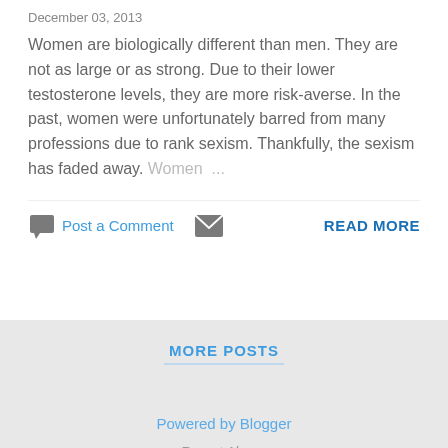December 03, 2013
Women are biologically different than men. They are not as large or as strong. Due to their lower testosterone levels, they are more risk-averse. In the past, women were unfortunately barred from many professions due to rank sexism. Thankfully, the sexism has faded away. Women ...
Post a Comment   READ MORE
MORE POSTS
Powered by Blogger
Report Abuse